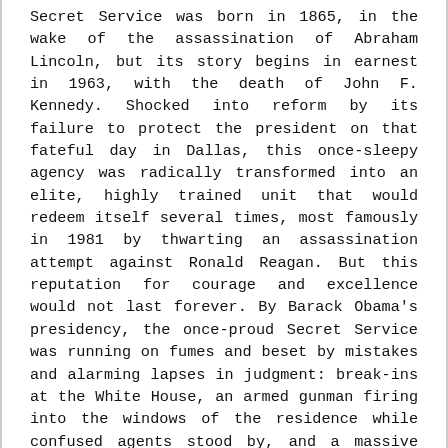Secret Service was born in 1865, in the wake of the assassination of Abraham Lincoln, but its story begins in earnest in 1963, with the death of John F. Kennedy. Shocked into reform by its failure to protect the president on that fateful day in Dallas, this once-sleepy agency was radically transformed into an elite, highly trained unit that would redeem itself several times, most famously in 1981 by thwarting an assassination attempt against Ronald Reagan. But this reputation for courage and excellence would not last forever. By Barack Obama's presidency, the once-proud Secret Service was running on fumes and beset by mistakes and alarming lapses in judgment: break-ins at the White House, an armed gunman firing into the windows of the residence while confused agents stood by, and a massive prostitution scandal among agents in Cartagena, to name